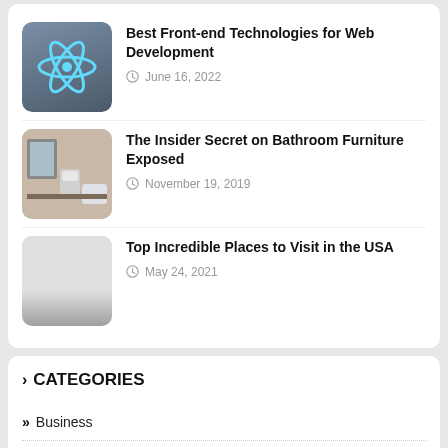Best Front-end Technologies for Web Development
June 16, 2022
The Insider Secret on Bathroom Furniture Exposed
November 19, 2019
Top Incredible Places to Visit in the USA
May 24, 2021
CATEGORIES
Business
Cleaning
Dubai